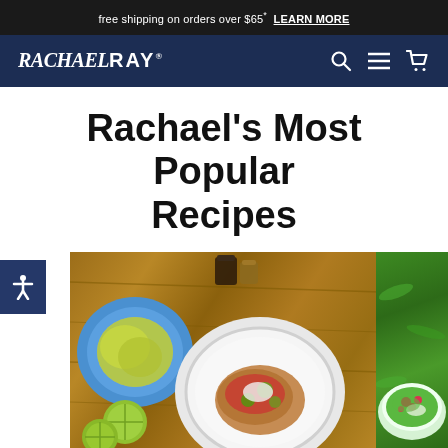free shipping on orders over $65* LEARN MORE
RACHAEL RAY
Rachael's Most Popular Recipes
[Figure (photo): Two food photos side by side: left shows a taco/toast dish on a white plate with lime wedges and side dish on a blue plate, on a wooden surface with condiment bottles; right shows a salad in a bowl with greens and red berries on a green background]
Add to cart